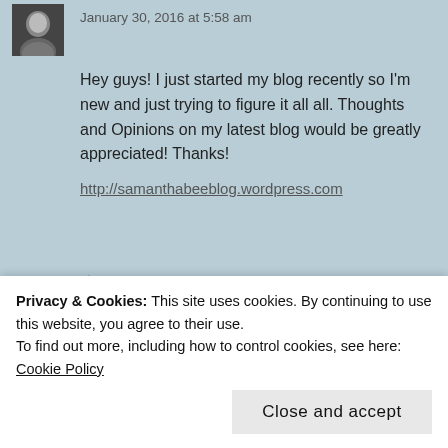January 30, 2016 at 5:58 am
Hey guys! I just started my blog recently so I'm new and just trying to figure it all all. Thoughts and Opinions on my latest blog would be greatly appreciated! Thanks!
http://samanthabeeblog.wordpress.com
★ Like
REPLY
Toddler_Mama
January 30, 2016 at 2:49 pm
Privacy & Cookies: This site uses cookies. By continuing to use this website, you agree to their use.
To find out more, including how to control cookies, see here: Cookie Policy
Close and accept